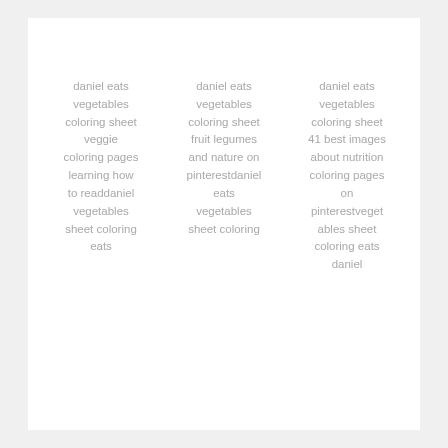daniel eats vegetables coloring sheet veggie coloring pages learning how to readdaniel vegetables sheet coloring eats
daniel eats vegetables coloring sheet fruit legumes and nature on pinterestdaniel eats vegetables sheet coloring
daniel eats vegetables coloring sheet 41 best images about nutrition coloring pages on pinterestvegetables sheet coloring eats daniel